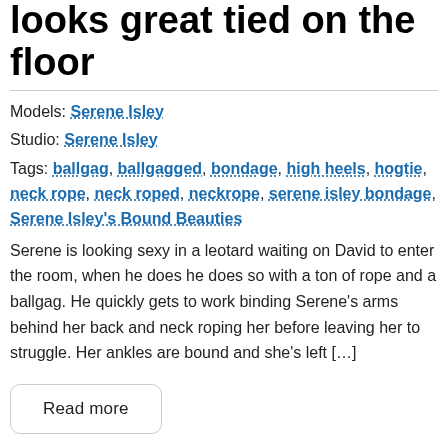looks great tied on the floor
Models: Serene Isley
Studio: Serene Isley
Tags: ballgag, ballgagged, bondage, high heels, hogtie, neck rope, neck roped, neckrope, serene isley bondage, Serene Isley's Bound Beauties
Serene is looking sexy in a leotard waiting on David to enter the room, when he does he does so with a ton of rope and a ballgag. He quickly gets to work binding Serene's arms behind her back and neck roping her before leaving her to struggle. Her ankles are bound and she's left […]
Read more